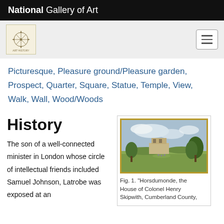National Gallery of Art
Picturesque, Pleasure ground/Pleasure garden, Prospect, Quarter, Square, Statue, Temple, View, Walk, Wall, Wood/Woods
History
The son of a well-connected minister in London whose circle of intellectual friends included Samuel Johnson, Latrobe was exposed at an
[Figure (photo): Painting of a landscape showing a large house or estate with trees and open grounds, framed in a gold/wooden frame.]
Fig. 1. "Horsdumonde, the House of Colonel Henry Skipwith, Cumberland County,